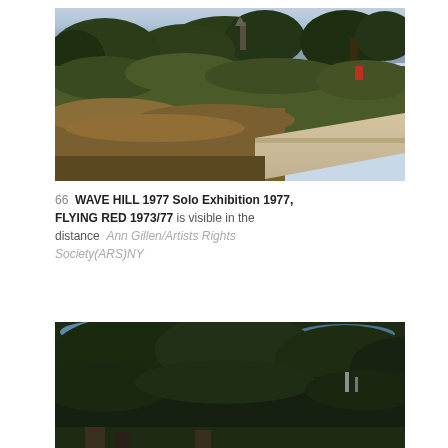[Figure (photo): Outdoor garden/landscape photograph showing dense trees and shrubs with a stone terrace or bench structure in the foreground-right. Sky visible through tree canopy. Warm late-afternoon tones. Wave Hill garden, 1977.]
66  WAVE HILL 1977 Solo Exhibition 1977, FLYING RED 1973/77 is visible in the distance  Ann Gillen/Artists Rights Society(ARS)NY
[Figure (photo): Outdoor photograph looking up through dense tree canopy, dark foliage filling the frame. Partial view of a sculpture or structure visible at bottom. Wave Hill garden context.]